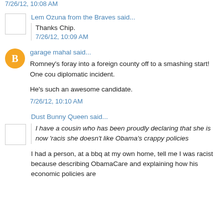7/26/12, 10:08 AM
Lem Ozuna from the Braves said...
Thanks Chip.
7/26/12, 10:09 AM
garage mahal said...
Romney's foray into a foreign county off to a smashing start! One cou diplomatic incident.
He's such an awesome candidate.
7/26/12, 10:10 AM
Dust Bunny Queen said...
I have a cousin who has been proudly declaring that she is now 'racis she doesn't like Obama's crappy policies
I had a person, at a bbq at my own home, tell me I was racist because describing ObamaCare and explaining how his economic policies are